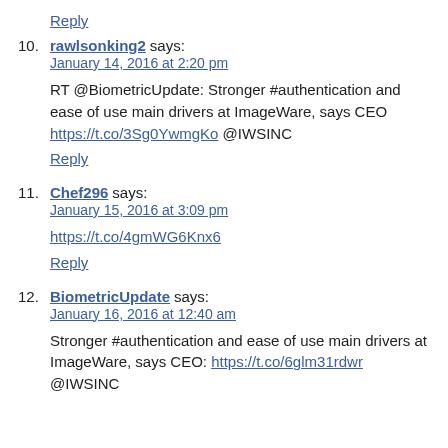Reply
10. rawlsonking2 says:
January 14, 2016 at 2:20 pm

RT @BiometricUpdate: Stronger #authentication and ease of use main drivers at ImageWare, says CEO https://t.co/3Sg0YwmgKo @IWSINC
Reply
11. Chef296 says:
January 15, 2016 at 3:09 pm

https://t.co/4gmWG6Knx6
Reply
12. BiometricUpdate says:
January 16, 2016 at 12:40 am

Stronger #authentication and ease of use main drivers at ImageWare, says CEO: https://t.co/6glm31rdwr @IWSINC